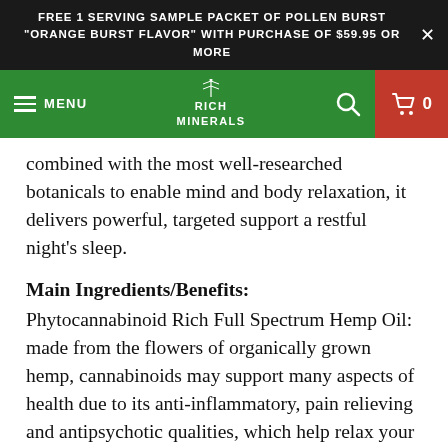FREE 1 SERVING SAMPLE PACKET OF POLLEN BURST "ORANGE BURST FLAVOR" WITH PURCHASE OF $59.95 OR MORE
[Figure (screenshot): Rich Minerals navigation bar with hamburger menu, logo, search icon, and cart icon on green background]
combined with the most well-researched botanicals to enable mind and body relaxation, it delivers powerful, targeted support a restful night's sleep.
Main Ingredients/Benefits:
Phytocannabinoid Rich Full Spectrum Hemp Oil: made from the flowers of organically grown hemp, cannabinoids may support many aspects of health due to its anti-inflammatory, pain relieving and antipsychotic qualities, which help relax your body and support sleep.
Melatonin: although produced naturally in the body, this hormone is vital to supporting the circadian rhythm that tells your body when to go to sleep.
Chamomile: a popular herb used in ancient medicine to help calm the nervous system as well as support many